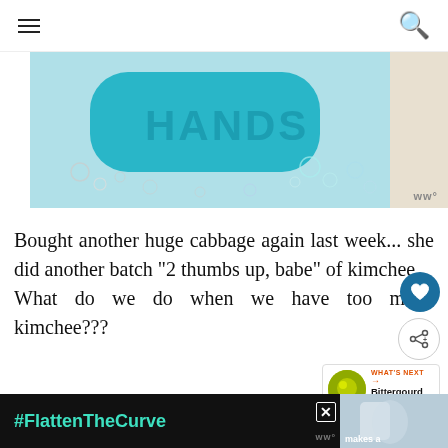navigation header with hamburger menu and search icon
[Figure (photo): Close-up photo of a teal/turquoise bar of soap labeled HANDS, surrounded by soap bubbles on a light surface]
Bought another huge cabbage again last week... she did another batch "2 thumbs up, babe" of kimchee
What do we do when we have too much kimchee???
WHAT'S NEXT → Bittergourd Stir Fry
[Figure (screenshot): Advertisement banner at bottom with #FlattenTheCurve hashtag in teal on dark background, with image of hands being washed, and WW logo]